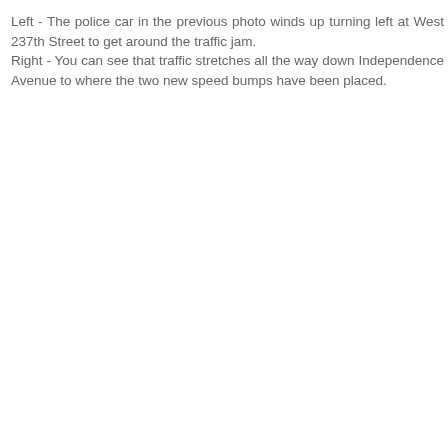Left - The police car in the previous photo winds up turning left at West 237th Street to get around the traffic jam. Right - You can see that traffic stretches all the way down Independence Avenue to where the two new speed bumps have been placed.